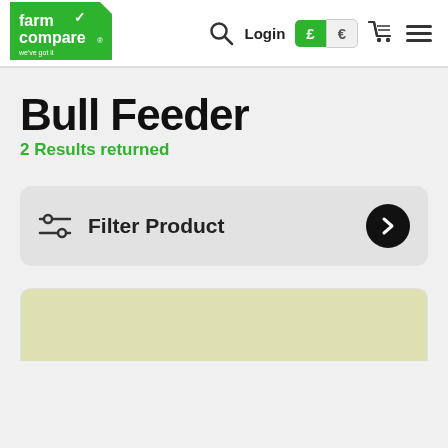[Figure (logo): Farm Compare logo - green trapezoid shape with white text 'farm compare' and checkmark, tagline 'we've got it']
Login  £  €  [cart]  [menu]
Bull Feeder
2 Results returned
Filter Product